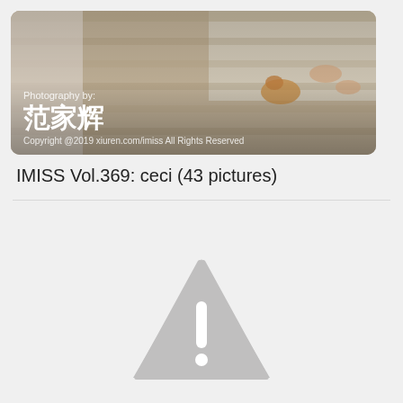[Figure (photo): Photograph watermarked card showing a top-down view of a person's feet on a wooden floor with a small cat or stuffed animal, overlaid with photographer credits and copyright text]
IMISS Vol.369: ceci (43 pictures)
[Figure (illustration): Grey warning triangle icon with white exclamation mark, indicating content unavailable or blocked]